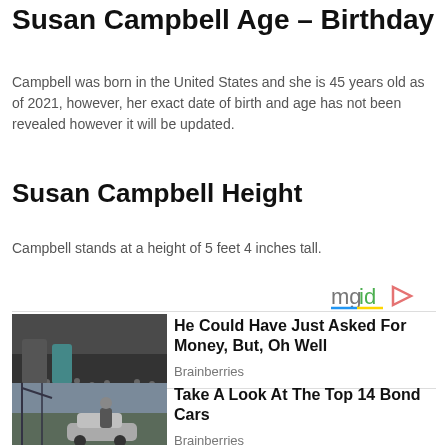Susan Campbell Age – Birthday
Campbell was born in the United States and she is 45 years old as of 2021, however, her exact date of birth and age has not been revealed however it will be updated.
Susan Campbell Height
Campbell stands at a height of 5 feet 4 inches tall.
[Figure (logo): mgid logo with play button icon]
[Figure (photo): Crowd scene photo with two people in foreground]
He Could Have Just Asked For Money, But, Oh Well
Brainberries
[Figure (photo): Man standing next to a silver sports car with construction cranes in background]
Take A Look At The Top 14 Bond Cars
Brainberries